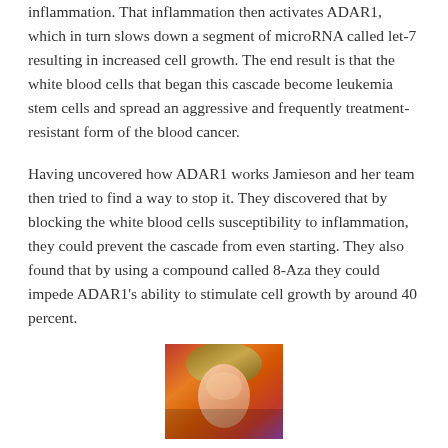inflammation. That inflammation then activates ADAR1, which in turn slows down a segment of microRNA called let-7 resulting in increased cell growth. The end result is that the white blood cells that began this cascade become leukemia stem cells and spread an aggressive and frequently treatment-resistant form of the blood cancer.
Having uncovered how ADAR1 works Jamieson and her team then tried to find a way to stop it. They discovered that by blocking the white blood cells susceptibility to inflammation, they could prevent the cascade from even starting. They also found that by using a compound called 8-Aza they could impede ADAR1’s ability to stimulate cell growth by around 40 percent.
[Figure (photo): Partial photograph of a person, cropped showing only the top portion of a face/head, with warm reddish-orange and brown tones]